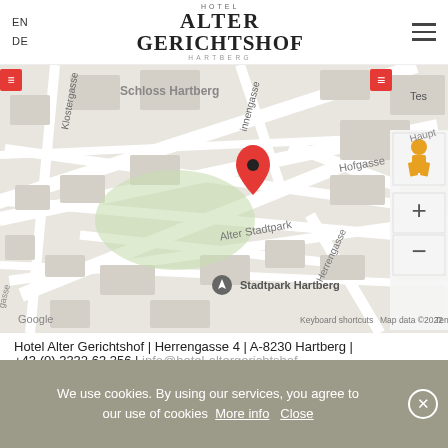EN DE | HOTEL ALTER GERICHTSHOF HARTBERG
[Figure (map): Google Maps screenshot showing Hartberg city center with a red location pin marking Hotel Alter Gerichtshof near Stadtpark Hartberg. Street labels visible: Schloss Hartberg, Klostergasse, innengasse, Hofgasse, Alter Stadtpark, Herrengasse. Google logo and map data ©2022 attribution visible.]
Hotel Alter Gerichtshof | Herrengasse 4 | A-8230 Hartberg |
+43 (0) 3332 63 356 | info@hotel-altergerichtshof...
We use cookies. By using our services, you agree to our use of cookies More info Close